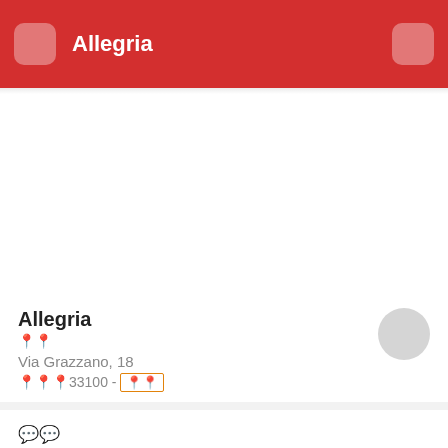Allegria
Allegria
Via Grazzano, 18
33100 -
8.3